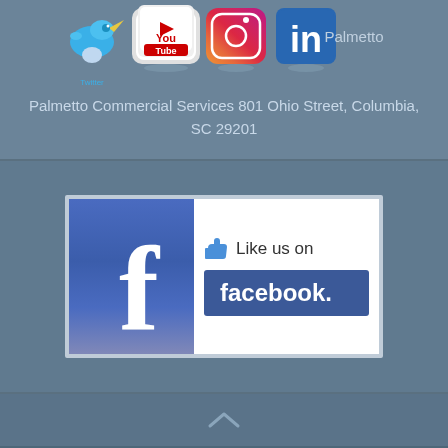[Figure (logo): Row of social media icons: Twitter bird, YouTube, Instagram, LinkedIn]
Palmetto Commercial Services 801 Ohio Street, Columbia, SC 29201
[Figure (logo): Like us on Facebook badge with Facebook logo and blue facebook label]
© Copyright 2020 All Rights Reserved. SEO by PRL 37